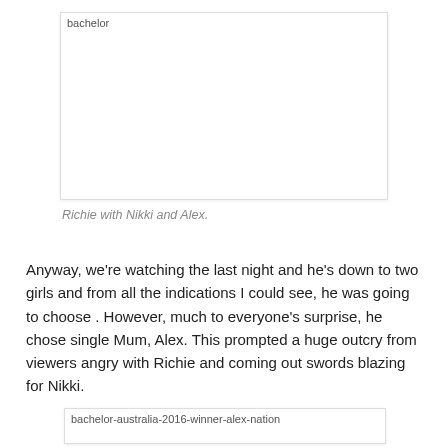[Figure (photo): Broken image placeholder labeled 'bachelor' — photo of Richie with Nikki and Alex]
Richie with Nikki and Alex.
Anyway, we're watching the last night and he's down to two girls and from all the indications I could see, he was going to choose . However, much to everyone's surprise, he chose single Mum, Alex. This prompted a huge outcry from viewers angry with Richie and coming out swords blazing for Nikki.
[Figure (photo): Broken image placeholder labeled 'bachelor-australia-2016-winner-alex-nation']